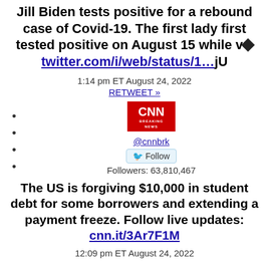Jill Biden tests positive for a rebound case of Covid-19. The first lady first tested positive on August 15 while v◆twitter.com/i/web/status/1…jU
1:14 pm ET August 24, 2022
RETWEET »
[Figure (logo): CNN Breaking News logo in red with white text]
@cnnbrk
Follow
Followers: 63,810,467
The US is forgiving $10,000 in student debt for some borrowers and extending a payment freeze. Follow live updates: cnn.it/3Ar7F1M
12:09 pm ET August 24, 2022